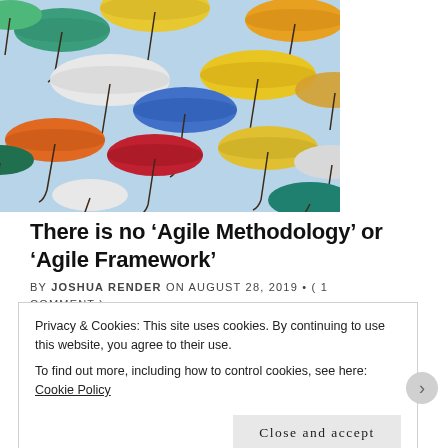[Figure (photo): Colorful umbrellas floating against a light blue sky, photographed from below. Multiple umbrellas of various colors including yellow, teal, blue, orange, red, white, and green are visible.]
There is no 'Agile Methodology' or 'Agile Framework'
BY JOSHUA RENDER ON AUGUST 28, 2019 • ( 1 COMMENT )
Privacy & Cookies: This site uses cookies. By continuing to use this website, you agree to their use.
To find out more, including how to control cookies, see here: Cookie Policy
Close and accept